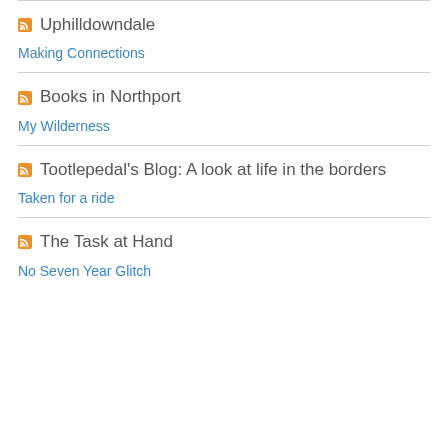Uphilldowndale — Making Connections
Books in Northport — My Wilderness
Tootlepedal's Blog: A look at life in the borders — Taken for a ride
The Task at Hand — No Seven Year Glitch